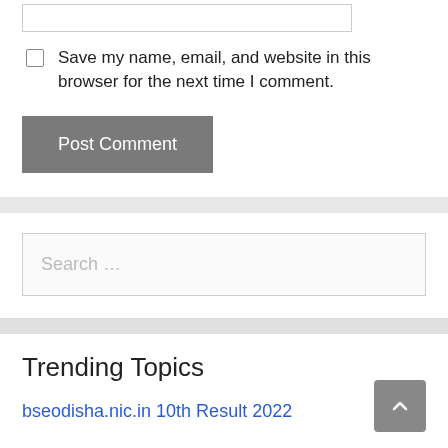Save my name, email, and website in this browser for the next time I comment.
Post Comment
Search …
Trending Topics
bseodisha.nic.in 10th Result 2022